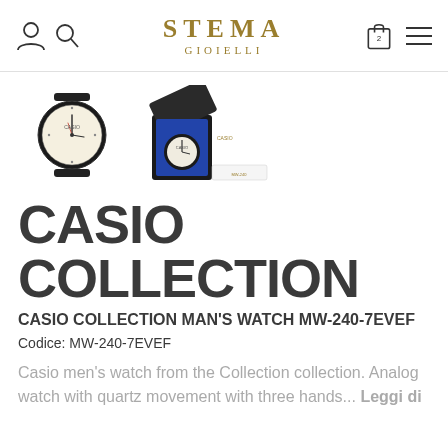STEMA GIOIELLI
[Figure (photo): Two product thumbnail photos: a Casio black analog watch on the left, and a Casio watch in its open box/case on the right]
CASIO COLLECTION
CASIO COLLECTION MAN'S WATCH MW-240-7EVEF
Codice: MW-240-7EVEF
Casio men's watch from the Collection collection. Analog watch with quartz movement with three hands... Leggi di